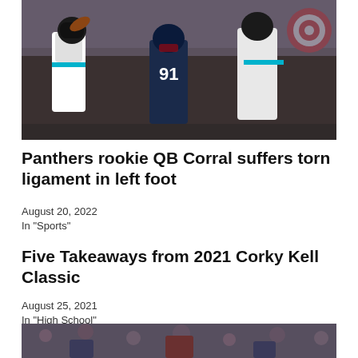[Figure (photo): NFL football action photo: Carolina Panthers quarterback throwing a pass while New England Patriots defender #91 rushes, with another Panthers player (#7x) blocking.]
Panthers rookie QB Corral suffers torn ligament in left foot
August 20, 2022
In "Sports"
Five Takeaways from 2021 Corky Kell Classic
August 25, 2021
In "High School"
[Figure (photo): Football action photo partially visible at the bottom of the page, showing players in a game.]